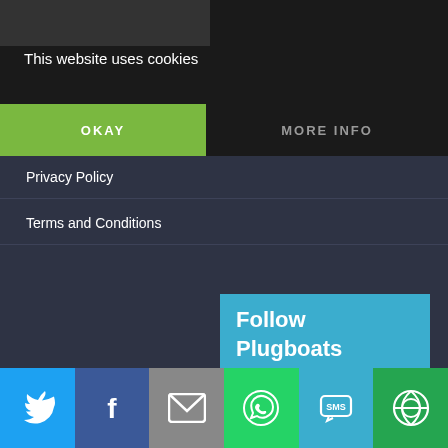[Figure (screenshot): Dark header area with blurred image background]
This website uses cookies
OKAY
MORE INFO
Privacy Policy
Terms and Conditions
Follow Plugboats
[Figure (illustration): Social media icons: Facebook, Twitter, Instagram, LinkedIn, Link, Apple]
[Figure (illustration): Bottom share bar: Twitter, Facebook, Email, WhatsApp, SMS, Other]